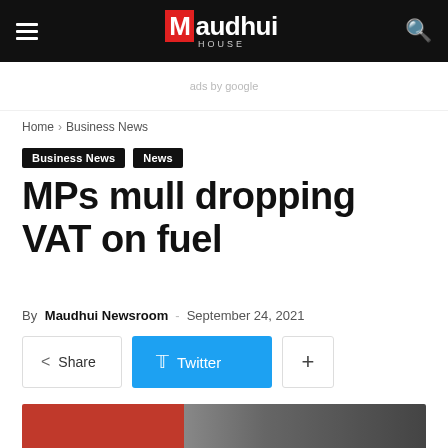Maudhui House
ads by google
Home › Business News
Business News  News
MPs mull dropping VAT on fuel
By Maudhui Newsroom - September 24, 2021
Share  Twitter  +
[Figure (photo): A person in a red shirt at a fuel station, near cars]